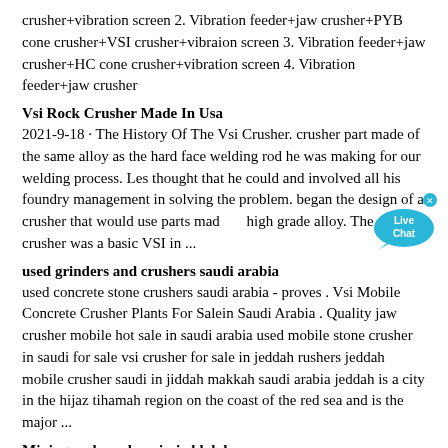crusher+vibration screen 2. Vibration feeder+jaw crusher+PYB cone crusher+VSI crusher+vibraion screen 3. Vibration feeder+jaw crusher+HC cone crusher+vibration screen 4. Vibration feeder+jaw crusher
Vsi Rock Crusher Made In Usa
2021-9-18 · The History Of The Vsi Crusher. crusher part made of the same alloy as the hard face welding rod he was making for our welding process. Les thought that he could and involved all his foundry management in solving the problem. began the design of a crusher that would use parts made of high grade alloy. The rst crusher was a basic VSI in ...
used grinders and crushers saudi arabia
used concrete stone crushers saudi arabia - proves . Vsi Mobile Concrete Crusher Plants For Salein Saudi Arabia . Quality jaw crusher mobile hot sale in saudi arabia used mobile stone crusher in saudi for sale vsi crusher for sale in jeddah rushers jeddah mobile crusher saudi in jiddah makkah saudi arabia jeddah is a city in the hijaz tihamah region on the coast of the red sea and is the major ...
Mining and crushers in jeddah ksa
Stone crushers, Jaw, Cone, Impact, Vsi crusher for Mining and crushers in jeddah ksa As a leading global manufacturer of crushing, grinding and mining equipments, we offer advanced, reasonable solutions for any size-reduction requirements